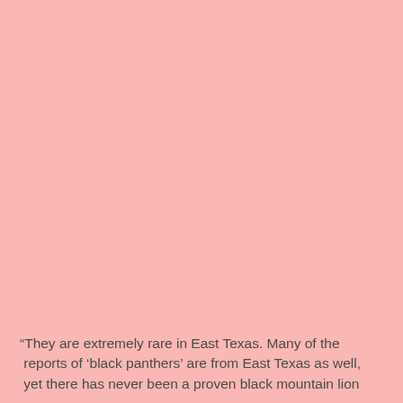“They are extremely rare in East Texas. Many of the reports of ‘black panthers’ are from East Texas as well, yet there has never been a proven black mountain lion